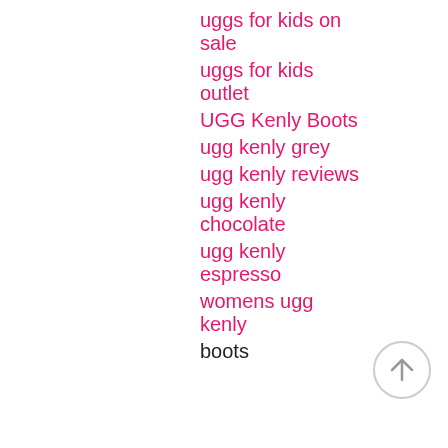kids
uggs for kids on sale
uggs for kids outlet
UGG Kenly Boots
ugg kenly grey
ugg kenly reviews
ugg kenly chocolate
ugg kenly espresso
womens ugg kenly
boots
[Figure (other): Back to top circular arrow button icon]